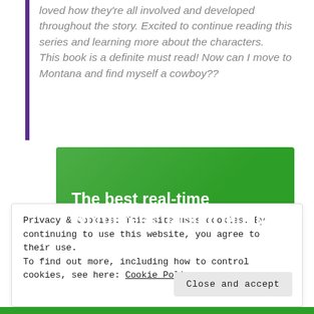loved how they're all involved and developed throughout the story. Excited to continue reading this series and learning more about the characters.
This book is a definite must read! Now can I move to Montana and find myself a cowboy??
[Figure (infographic): Green advertisement banner with bold white text reading 'The best real-time WordPress backup plugin' with a white button bar at the bottom]
Privacy & Cookies: This site uses cookies. By continuing to use this website, you agree to their use.
To find out more, including how to control cookies, see here: Cookie Policy